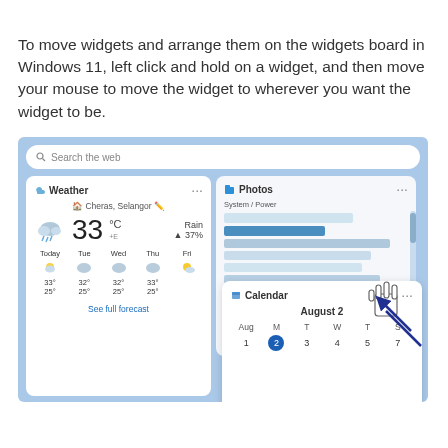To move widgets and arrange them on the widgets board in Windows 11, left click and hold on a widget, and then move your mouse to move the widget to wherever you want the widget to be.
[Figure (screenshot): Windows 11 widgets board screenshot showing Weather widget (33°C, Rain 37%, Cheras Selangor, forecast for Today/Tue/Wed/Thu/Fri), Photos widget, and Calendar widget (August, week of Aug 1-7 with Aug 2 highlighted), with a hand cursor and arrows indicating dragging the Calendar widget.]